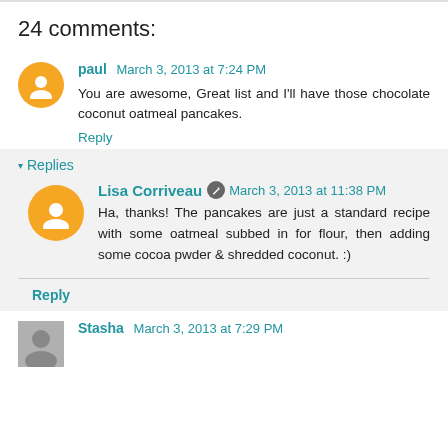24 comments:
paul March 3, 2013 at 7:24 PM
You are awesome, Great list and I'll have those chocolate coconut oatmeal pancakes.
Reply
Replies
Lisa Corriveau March 3, 2013 at 11:38 PM
Ha, thanks! The pancakes are just a standard recipe with some oatmeal subbed in for flour, then adding some cocoa pwder & shredded coconut. :)
Reply
Stasha March 3, 2013 at 7:29 PM